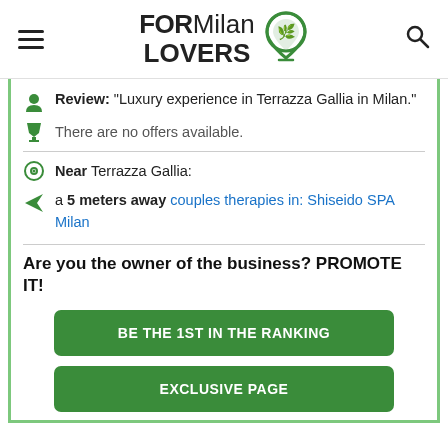FORMilanLOVERS [logo with map pin icon] [hamburger menu] [search icon]
Review: "Luxury experience in Terrazza Gallia in Milan."
There are no offers available.
Near Terrazza Gallia:
a 5 meters away couples therapies in: Shiseido SPA Milan
Are you the owner of the business? PROMOTE IT!
BE THE 1ST IN THE RANKING
EXCLUSIVE PAGE